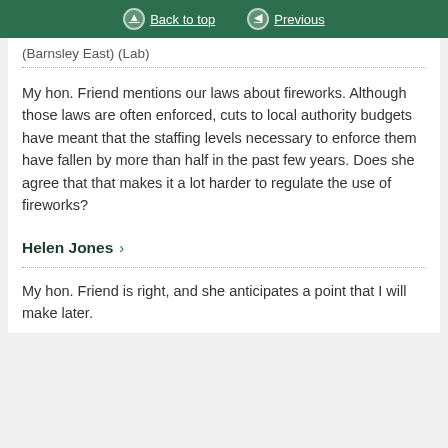Back to top | Previous
(Barnsley East) (Lab)
My hon. Friend mentions our laws about fireworks. Although those laws are often enforced, cuts to local authority budgets have meant that the staffing levels necessary to enforce them have fallen by more than half in the past few years. Does she agree that that makes it a lot harder to regulate the use of fireworks?
Helen Jones
My hon. Friend is right, and she anticipates a point that I will make later.